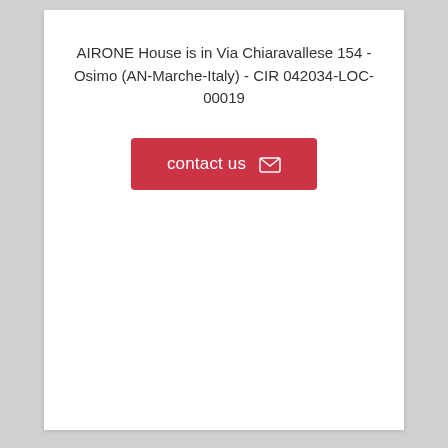AIRONE House is in Via Chiaravallese 154 - Osimo (AN-Marche-Italy) - CIR 042034-LOC-00019
[Figure (other): Red button labeled 'contact us' with an envelope icon]